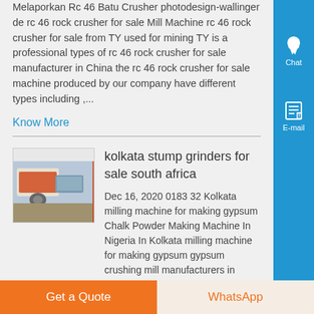Melaporkan Rc 46 Batu Crusher photodesign-wallinger de rc 46 rock crusher for sale Mill Machine rc 46 rock crusher for sale from TY used for mining TY is a professional types of rc 46 rock crusher for sale manufacturer in China the rc 46 rock crusher for sale machine produced by our company have different types including ,...
Know More
[Figure (photo): Thumbnail photo of industrial machinery (stump grinder or crusher equipment)]
kolkata stump grinders for sale south africa
Dec 16, 2020 0183 32 Kolkata milling machine for making gypsum Chalk Powder Making Machine In Nigeria In Kolkata milling machine for making gypsum gypsum crushing mill manufacturers in Nigeria in Nigeria Gypsum